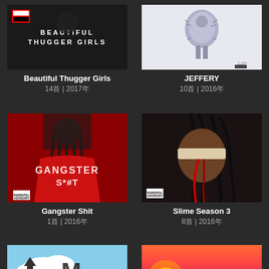[Figure (photo): Album cover for Beautiful Thugger Girls - dark background with parental advisory label and text]
Beautiful Thugger Girls
14首 | 2017年
[Figure (photo): Album cover for JEFFERY - figure wearing fluffy outfit on white background]
JEFFERY
10首 | 2016年
[Figure (photo): Album cover for Gangster Shit - rapper in red hoodie with dreadlocks on red background with stylized text]
Gangster Shit
1首 | 2016年
[Figure (photo): Album cover for Slime Season 3 - Young Thug with blindfold and blood dripping, parental advisory label]
Slime Season 3
8首 | 2016年
[Figure (photo): Partial album cover - cartoon style with clouds and arrow pointing up]
[Figure (photo): Partial album cover - colorful sunset/sunrise background]